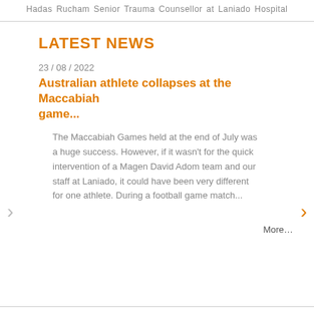Hadas Rucham Senior Trauma Counsellor at Laniado Hospital
LATEST NEWS
23 / 08 / 2022
Australian athlete collapses at the Maccabiah game...
The Maccabiah Games held at the end of July was a huge success. However, if it wasn't for the quick intervention of a Magen David Adom team and our staff at Laniado, it could have been very different for one athlete. During a football game match...
More...